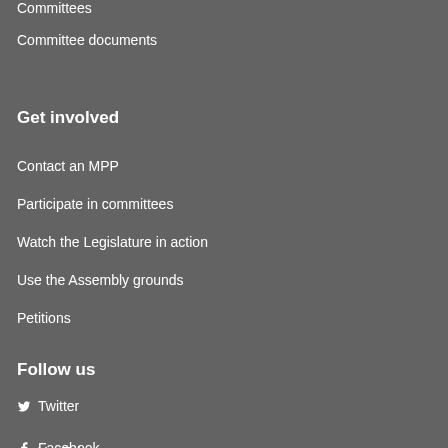Committees
Committee documents
Get involved
Contact an MPP
Participate in committees
Watch the Legislature in action
Use the Assembly grounds
Petitions
Follow us
Twitter
YouTube
Facebook